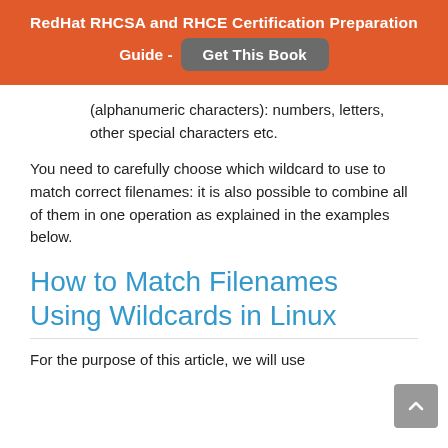RedHat RHCSA and RHCE Certification Preparation Guide - Get This Book
(alphanumeric characters): numbers, letters, other special characters etc.
You need to carefully choose which wildcard to use to match correct filenames: it is also possible to combine all of them in one operation as explained in the examples below.
How to Match Filenames Using Wildcards in Linux
For the purpose of this article, we will use